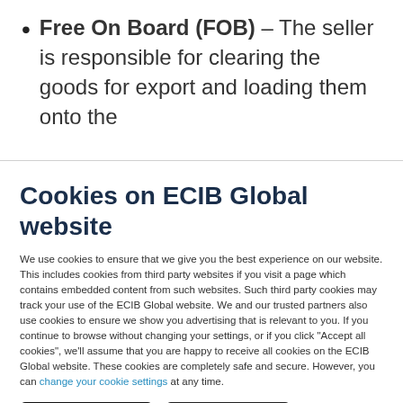Free On Board (FOB) – The seller is responsible for clearing the goods for export and loading them onto the
Cookies on ECIB Global website
We use cookies to ensure that we give you the best experience on our website. This includes cookies from third party websites if you visit a page which contains embedded content from such websites. Such third party cookies may track your use of the ECIB Global website. We and our trusted partners also use cookies to ensure we show you advertising that is relevant to you. If you continue to browse without changing your settings, or if you click "Accept all cookies", we'll assume that you are happy to receive all cookies on the ECIB Global website. These cookies are completely safe and secure. However, you can change your cookie settings at any time.
Accept all cookies
Disable cookies